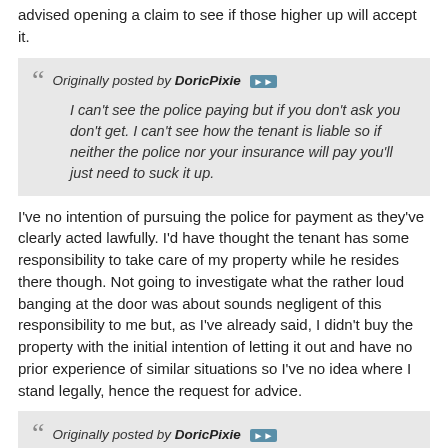advised opening a claim to see if those higher up will accept it.
Originally posted by DoricPixie
I can't see the police paying but if you don't ask you don't get. I can't see how the tenant is liable so if neither the police nor your insurance will pay you'll just need to suck it up.
I've no intention of pursuing the police for payment as they've clearly acted lawfully. I'd have thought the tenant has some responsibility to take care of my property while he resides there though. Not going to investigate what the rather loud banging at the door was about sounds negligent of this responsibility to me but, as I've already said, I didn't buy the property with the initial intention of letting it out and have no prior experience of similar situations so I've no idea where I stand legally, hence the request for advice.
Originally posted by DoricPixie
Hudson01 and I have both already told you to take steps to evict the tenant with a Section 21. You could trying for a Section 8 ground 10 but it is a discretionary ground so could fail.